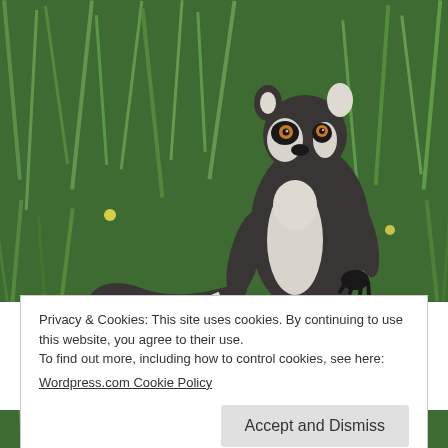[Figure (photo): A ring-tailed lemur standing upright in a grassy field, looking toward the camera. The lemur has distinctive black and white facial markings and orange eyes. Background is lush green grass.]
Privacy & Cookies: This site uses cookies. By continuing to use this website, you agree to their use.
To find out more, including how to control cookies, see here:
Wordpress.com Cookie Policy
Accept and Dismiss